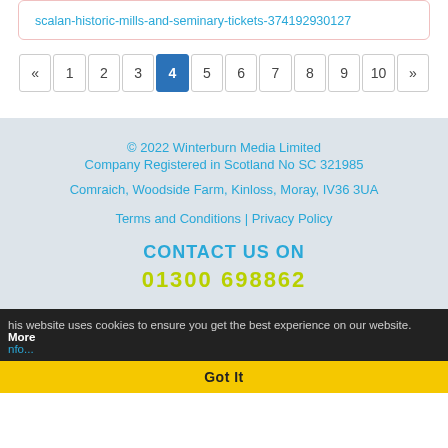scalan-historic-mills-and-seminary-tickets-374192930127
« 1 2 3 4 5 6 7 8 9 10 »
© 2022 Winterburn Media Limited
Company Registered in Scotland No SC 321985
Comraich, Woodside Farm, Kinloss, Moray, IV36 3UA
Terms and Conditions | Privacy Policy
CONTACT US ON
01300 698862
This website uses cookies to ensure you get the best experience on our website. More info...
Got It